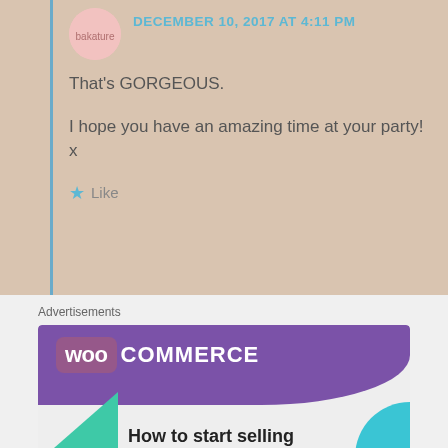DECEMBER 10, 2017 AT 4:11 PM
That's GORGEOUS.
I hope you have an amazing time at your party! x
Like
Advertisements
[Figure (screenshot): WooCommerce advertisement banner with purple background, teal accent, green triangle and cyan corner shape, text: How to start selling]